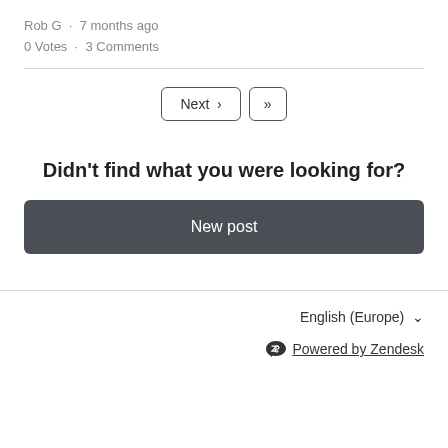Rob G · 7 months ago
0 Votes · 3 Comments
[Figure (other): Pagination buttons: 'Next ›' and '»']
Didn't find what you were looking for?
New post
English (Europe) ∨
Powered by Zendesk